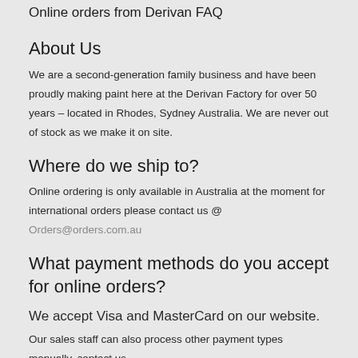Online orders from Derivan FAQ
About Us
We are a second-generation family business and have been proudly making paint here at the Derivan Factory for over 50 years – located in Rhodes, Sydney Australia. We are never out of stock as we make it on site.
Where do we ship to?
Online ordering is only available in Australia at the moment for international orders please contact us @ Orders@orders.com.au
What payment methods do you accept for online orders?
We accept Visa and MasterCard on our website.
Our sales staff can also process other payment types manually, contact us